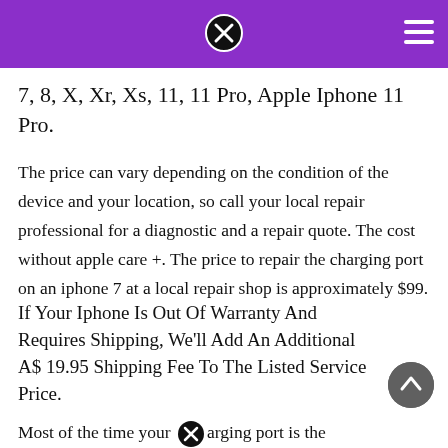7, 8, X, Xr, Xs, 11, 11 Pro, Apple Iphone 11 Pro.
The price can vary depending on the condition of the device and your location, so call your local repair professional for a diagnostic and a repair quote. The cost without apple care +. The price to repair the charging port on an iphone 7 at a local repair shop is approximately $99.
If Your Iphone Is Out Of Warranty And Requires Shipping, We'll Add An Additional A$ 19.95 Shipping Fee To The Listed Service Price.
Most of the time your charging port is the